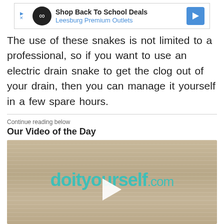[Figure (other): Advertisement banner for Leesburg Premium Outlets - Shop Back To School Deals]
The use of these snakes is not limited to a professional, so if you want to use an electric drain snake to get the clog out of your drain, then you can manage it yourself in a few spare hours.
Continue reading below
Our Video of the Day
[Figure (other): Video thumbnail for doityourself.com with play button overlay on wood texture background]